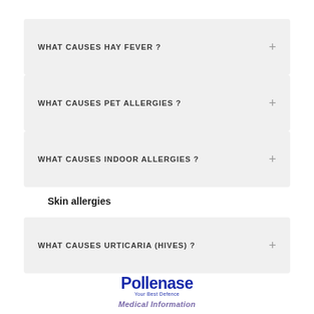WHAT CAUSES HAY FEVER ?
WHAT CAUSES PET ALLERGIES ?
WHAT CAUSES INDOOR ALLERGIES ?
Skin allergies
WHAT CAUSES URTICARIA (HIVES) ?
[Figure (logo): Pollenase logo with tagline 'Your Best Defence' and text 'Medical Information' below]